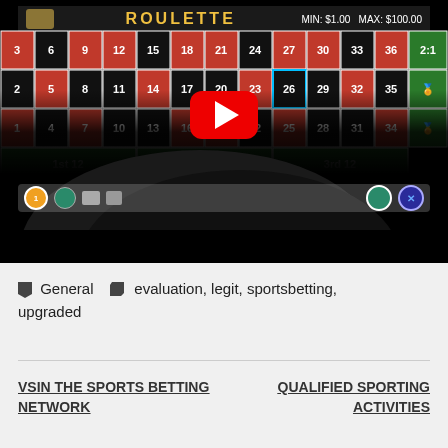[Figure (screenshot): A YouTube video thumbnail showing a roulette table with numbers, MIN: $1.00 MAX: $100.00, and a hand silhouette with a YouTube play button overlay]
General  evaluation, legit, sportsbetting, upgraded
VSIN THE SPORTS BETTING NETWORK
QUALIFIED SPORTING ACTIVITIES